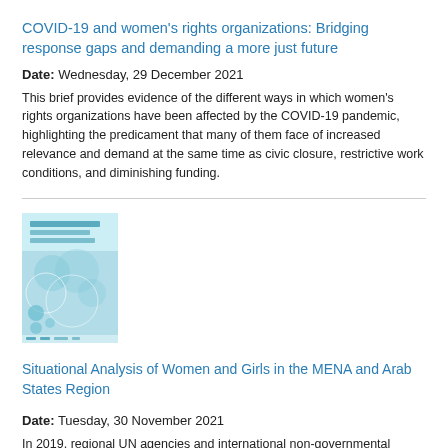COVID-19 and women's rights organizations: Bridging response gaps and demanding a more just future
Date: Wednesday, 29 December 2021
This brief provides evidence of the different ways in which women's rights organizations have been affected by the COVID-19 pandemic, highlighting the predicament that many of them face of increased relevance and demand at the same time as civic closure, restrictive work conditions, and diminishing funding.
[Figure (photo): Cover image of a report titled 'Situational Analysis of Women and Girls in the MENA and Arab States Region' — a light blue/teal colored document cover with circular design elements and logos at the bottom.]
Situational Analysis of Women and Girls in the MENA and Arab States Region
Date: Tuesday, 30 November 2021
In 2019, regional UN agencies and international non-governmental organizations including UNICEF, UN Women, ESCWA, FAO, UNFPA,